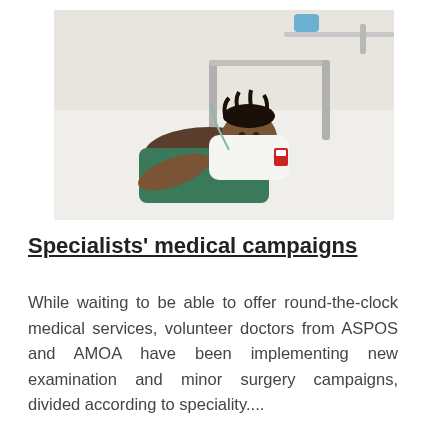[Figure (photo): A child wearing a green hospital gown lies on a white hospital bed, looking toward the camera. Medical equipment is visible in the background.]
Specialists' medical campaigns
While waiting to be able to offer round-the-clock medical services, volunteer doctors from ASPOS and AMOA have been implementing new examination and minor surgery campaigns, divided according to speciality....